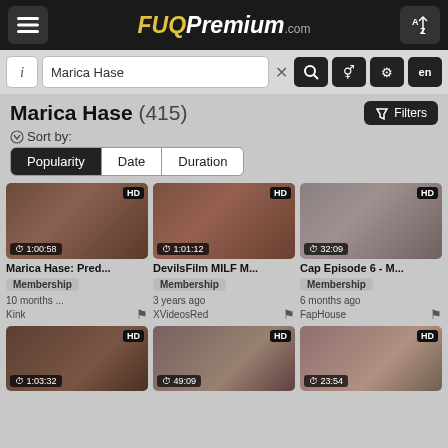FUQPremium.com
Marica Hase
Marica Hase (415)
Sort by: Popularity  Date  Duration
[Figure (screenshot): Video thumbnail 1: HD, 1:00:58]
Marica Hase: Pred...
Membership
10 months ...
Kink
[Figure (screenshot): Video thumbnail 2: HD, 1:01:12]
DevilsFilm MILF M...
Membership
3 years ago
XVideosRed
[Figure (screenshot): Video thumbnail 3: HD, 32:09]
Cap Episode 6 - M...
Membership
6 months ago
FapHouse
[Figure (screenshot): Video thumbnail 4: HD, 1:03:32]
[Figure (screenshot): Video thumbnail 5: HD, 49:09]
[Figure (screenshot): Video thumbnail 6: HD, 23:54]